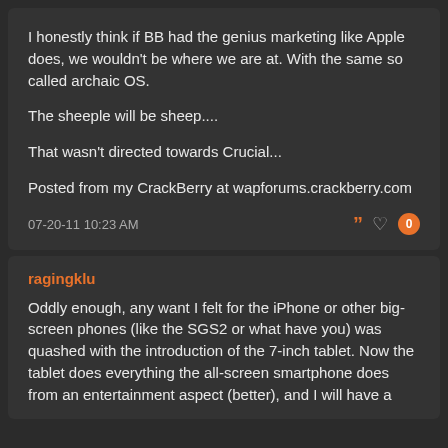I honestly think if BB had the genius marketing like Apple does, we wouldn't be where we are at. With the same so called archaic OS.

The sheeple will be sheep....

That wasn't directed towards Crucial...

Posted from my CrackBerry at wapforums.crackberry.com
07-20-11 10:23 AM
ragingklu
Oddly enough, any want I felt for the iPhone or other big-screen phones (like the SGS2 or what have you) was quashed with the introduction of the 7-inch tablet. Now the tablet does everything the all-screen smartphone does from an entertainment aspect (better), and I will have a